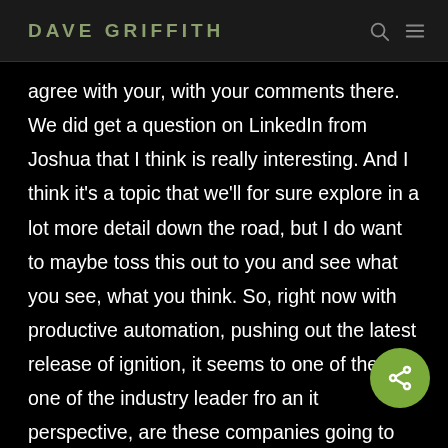DAVE GRIFFITH
agree with your, with your comments there. We did get a question on LinkedIn from Joshua that I think is really interesting. And I think it's a topic that we'll for sure explore in a lot more detail down the road, but I do want to maybe toss this out to you and see what you see, what you think. So, right now with productive automation, pushing out the latest release of ignition, it seems to one of the, to one of the industry leader from an it perspective, are these companies going to start focusing more on security